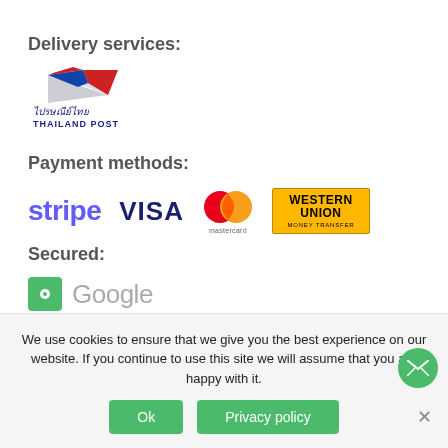Delivery services:
[Figure (logo): Thailand Post logo with wing graphic and Thai text above THAILAND POST]
Payment methods:
[Figure (logo): Payment method logos: Stripe, VISA, Mastercard, Western Union Money Transfer]
Secured:
[Figure (logo): Google logo with green icon badge]
We use cookies to ensure that we give you the best experience on our website. If you continue to use this site we will assume that you are happy with it.
Ok | Privacy policy